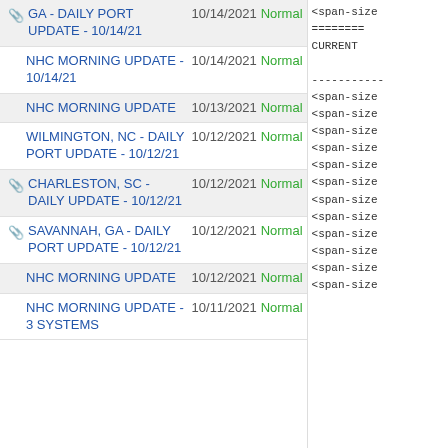GA - DAILY PORT UPDATE - 10/14/21 | 10/14/2021 | Normal
NHC MORNING UPDATE - 10/14/21 | 10/14/2021 | Normal
NHC MORNING UPDATE | 10/13/2021 | Normal
WILMINGTON, NC - DAILY PORT UPDATE - 10/12/21 | 10/12/2021 | Normal
CHARLESTON, SC - DAILY UPDATE - 10/12/21 | 10/12/2021 | Normal
SAVANNAH, GA - DAILY PORT UPDATE - 10/12/21 | 10/12/2021 | Normal
NHC MORNING UPDATE | 10/12/2021 | Normal
NHC MORNING UPDATE - 3 SYSTEMS | 10/11/2021 | Normal
<span-size
========
CURRENT

----------------
<span-size
<span-size
<span-size
<span-size
<span-size
<span-size
<span-size
<span-size
<span-size
<span-size
<span-size
<span-size